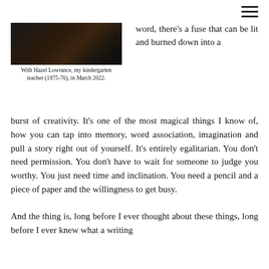[Figure (photo): Dark photograph of a person, partially visible, with floral elements in the upper left area of the page]
With Hazel Lowrance, my kindergarten teacher (1975-76), in March 2022.
word, there's a fuse that can be lit and burned down into a burst of creativity. It's one of the most magical things I know of, how you can tap into memory, word association, imagination and pull a story right out of yourself. It's entirely egalitarian. You don't need permission. You don't have to wait for someone to judge you worthy. You just need time and inclination. You need a pencil and a piece of paper and the willingness to get busy.
And the thing is, long before I ever thought about these things, long before I ever knew what a writing